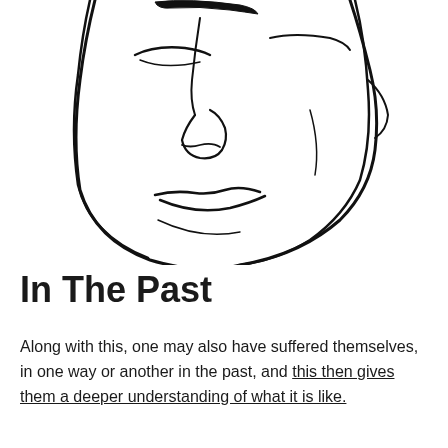[Figure (illustration): Line drawing illustration of a human face, cropped showing the lower portion from eyebrows down, with closed or downcast eyes, nose, and a neutral/sad mouth expression. Black and white line art style.]
In The Past
Along with this, one may also have suffered themselves, in one way or another in the past, and this then gives them a deeper understanding of what it is like.